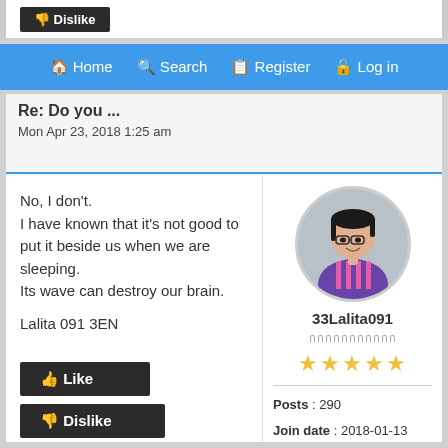Dislike
Home  Search  Register  Log in
Re: Do you ...  Mon Apr 23, 2018 1:25 am
No, I don't.
I have known that it's not good to put it beside us when we are sleeping.
Its wave can destroy our brain.

Lalita 091 3EN
[Figure (photo): Circular profile photo of user 33Lalita091 wearing purple and pink striped shirt]
33Lalita091
Posts : 290
Join date : 2018-01-13
Like
Dislike